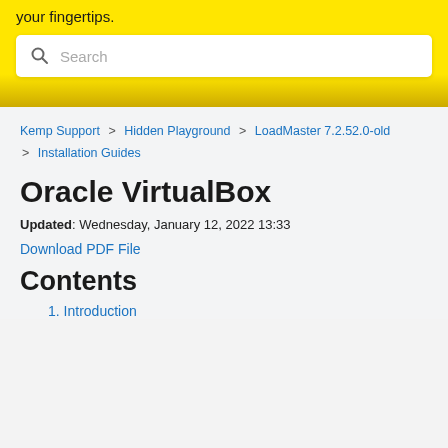your fingertips.
[Figure (screenshot): Search bar with magnifying glass icon and placeholder text 'Search']
Kemp Support > Hidden Playground > LoadMaster 7.2.52.0-old > Installation Guides
Oracle VirtualBox
Updated: Wednesday, January 12, 2022 13:33
Download PDF File
Contents
1. Introduction